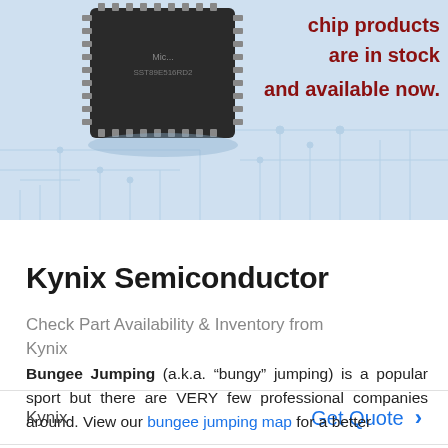[Figure (photo): Microchip/semiconductor IC chip image on light blue banner background with circuit board pattern. Red bold text reads: chip products are in stock and available now.]
Kynix Semiconductor
Check Part Availability & Inventory from Kynix
Kynix   Get Quote >
Bungee Jumping (a.k.a. “bungy” jumping) is a popular sport but there are VERY few professional companies around. View our bungee jumping map for a better